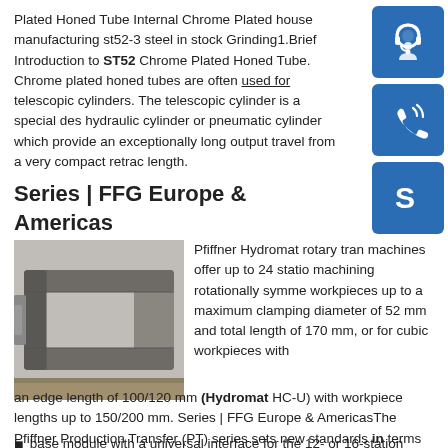Plated Honed Tube Internal Chrome Plated house manufacturing st52-3 steel in stock Grinding1.Brief Introduction to ST52 Chrome Plated Honed Tube. Chrome plated honed tubes are often used for telescopic cylinders. The telescopic cylinder is a special des hydraulic cylinder or pneumatic cylinder which provide an exceptionally long output travel from a very compact retrac length.
[Figure (illustration): Three blue sidebar icons: customer support headset icon, phone/call icon, Skype icon, each on a blue square background]
Series | FFG Europe & Americas
[Figure (photo): Photo of industrial metal machine component, appears to be a C-shaped or U-shaped metal part on a workbench]
Pfiffner Hydromat rotary tran machines offer up to 24 statio machining rotationally symme workpieces up to a maximum clamping diameter of 52 mm and total length of 170 mm, or for cubic workpieces with an edge length of 100/120 mm (Hydromat HC-U) with workpiece lengths up to 150/200 mm. Series | FFG Europe & AmericasThe Pfiffner Production Transfer (PT) series sets new standards in terms of flexibility and reuse in the field of rotary transfer technology. A
base module with a universal interface for the 12- or 16-station